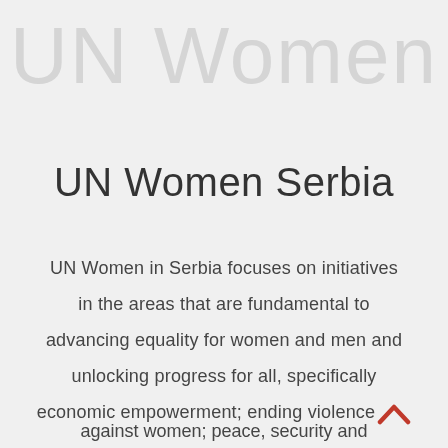[Figure (other): Faded watermark text reading 'UN Women' in large light gray letters in the background]
UN Women Serbia
UN Women in Serbia focuses on initiatives in the areas that are fundamental to advancing equality for women and men and unlocking progress for all, specifically economic empowerment; ending violence against women; peace, security and